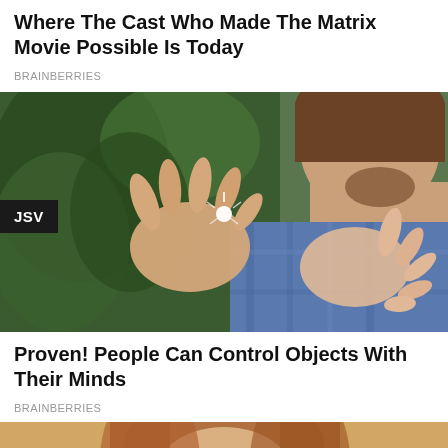Where The Cast Who Made The Matrix Movie Possible Is Today
BRAINBERRIES
[Figure (photo): A man in a blue plaid shirt with hands outstretched in front of green foliage background, with a small white feather or spark of light in the middle. A JSV badge overlays the bottom-left of the image.]
Proven! People Can Control Objects With Their Minds
BRAINBERRIES
[Figure (photo): Partial view of a woman with long reddish hair, cropped at bottom of page.]